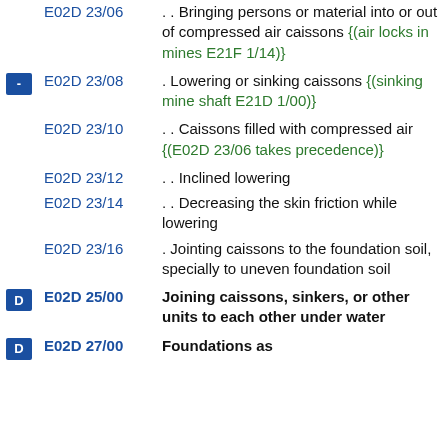E02D 23/06 . . Bringing persons or material into or out of compressed air caissons {(air locks in mines E21F 1/14)}
E02D 23/08 . Lowering or sinking caissons {(sinking mine shaft E21D 1/00)}
E02D 23/10 . . Caissons filled with compressed air {(E02D 23/06 takes precedence)}
E02D 23/12 . . Inclined lowering
E02D 23/14 . . Decreasing the skin friction while lowering
E02D 23/16 . Jointing caissons to the foundation soil, specially to uneven foundation soil
E02D 25/00 Joining caissons, sinkers, or other units to each other under water
E02D 27/00 Foundations as